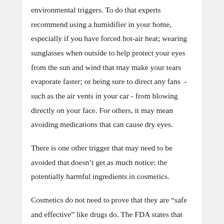environmental triggers. To do that experts recommend using a humidifier in your home, especially if you have forced hot-air heat; wearing sunglasses when outside to help protect your eyes from the sun and wind that may make your tears evaporate faster; or being sure to direct any fans  - such as the air vents in your car - from blowing directly on your face. For others, it may mean avoiding medications that can cause dry eyes.
There is one other trigger that may need to be avoided that doesn't get as much notice: the potentially harmful ingredients in cosmetics.
Cosmetics do not need to prove that they are “safe and effective” like drugs do. The FDA states that cosmetics are supposed to be tested for safety but there is no